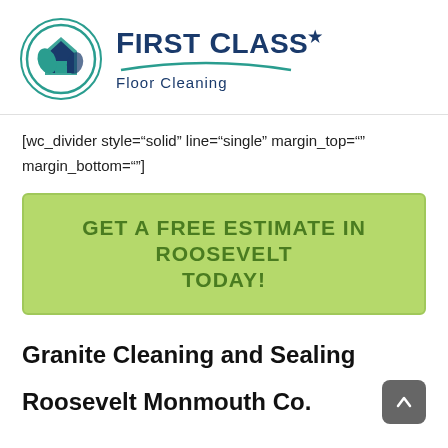[Figure (logo): First Class Floor Cleaning logo with circular icon and text]
[wc_divider style="solid" line="single" margin_top="" margin_bottom=""]
GET A FREE ESTIMATE IN ROOSEVELT TODAY!
Granite Cleaning and Sealing
Roosevelt Monmouth Co.